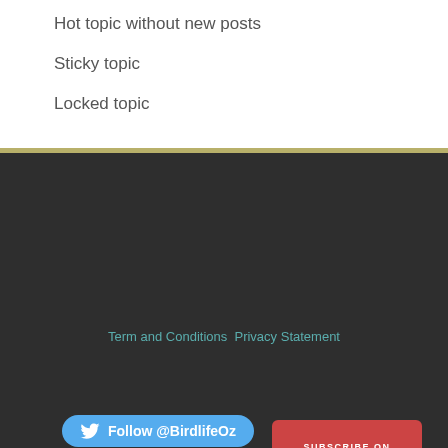Hot topic without new posts
Sticky topic
Locked topic
Term and Conditions  Privacy Statement
[Figure (other): Twitter follow button for @BirdlifeOz]
and
[Figure (other): Twitter follow button for @UrbanBirdsOz]
[Figure (other): Subscribe on YouTube button]